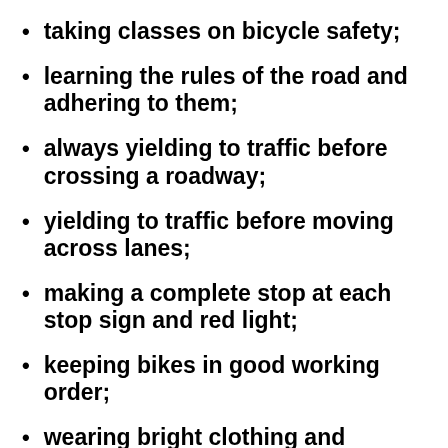taking classes on bicycle safety;
learning the rules of the road and adhering to them;
always yielding to traffic before crossing a roadway;
yielding to traffic before moving across lanes;
making a complete stop at each stop sign and red light;
keeping bikes in good working order;
wearing bright clothing and reflectors at night; and